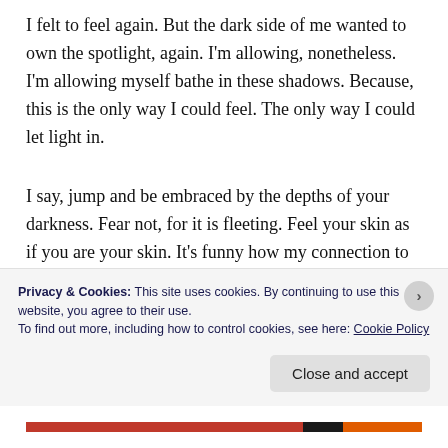I felt to feel again. But the dark side of me wanted to own the spotlight, again. I'm allowing, nonetheless. I'm allowing myself bathe in these shadows. Because, this is the only way I could feel. The only way I could let light in.
I say, jump and be embraced by the depths of your darkness. Fear not, for it is fleeting. Feel your skin as if you are your skin. It's funny how my connection to my body mirrors my slow internet connection here at home. Every
Privacy & Cookies: This site uses cookies. By continuing to use this website, you agree to their use.
To find out more, including how to control cookies, see here: Cookie Policy
Close and accept